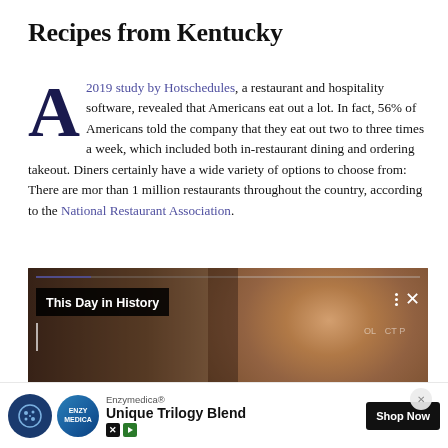Recipes from Kentucky
A 2019 study by Hotschedules, a restaurant and hospitality software, revealed that Americans eat out a lot. In fact, 56% of Americans told the company that they eat out two to three times a week, which included both in-restaurant dining and ordering takeout. Diners certainly have a wide variety of options to choose from: There are mor than 1 million restaurants throughout the country, according to the National Restaurant Association.
[Figure (screenshot): Embedded video player showing a man with white/grey hair, with overlay text 'This Day in History', progress bar at top, and video controls (dots menu, X close button) in top right corner.]
[Figure (infographic): Advertisement banner: cookie icon on left, Enzymedica logo, brand text 'Enzymedica®', product name 'Unique Trilogy Blend', 'Shop Now' button on right, with X and play icons at bottom left.]